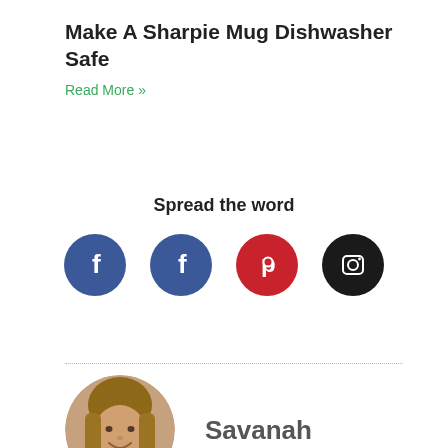Make A Sharpie Mug Dishwasher Safe
Read More »
Spread the word
[Figure (infographic): Four social media icons in circles: two Facebook (blue), one Pinterest (red), one Instagram (dark/black)]
[Figure (photo): Circular portrait photo of Savanah, a woman with blonde hair smiling]
Savanah